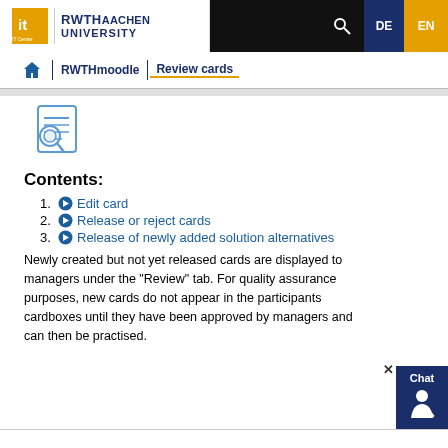IT Center | RWTH AACHEN UNIVERSITY | DE | EN
Home | RWTHmoodle | Review cards
[Figure (illustration): Blue document/review card icon with magnifying glass]
Contents:
1. Edit card
2. Release or reject cards
3. Release of newly added solution alternatives
Newly created but not yet released cards are displayed to managers under the "Review" tab. For quality assurance purposes, new cards do not appear in the participants cardboxes until they have been approved by managers and can then be practised.